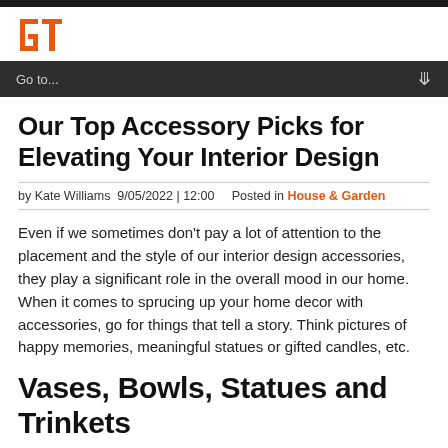[Figure (logo): Red/orange 'GT' logo mark in top left]
Go to...
Our Top Accessory Picks for Elevating Your Interior Design
by Kate Williams  9/05/2022 | 12:00    Posted in House & Garden
Even if we sometimes don't pay a lot of attention to the placement and the style of our interior design accessories, they play a significant role in the overall mood in our home. When it comes to sprucing up your home decor with accessories, go for things that tell a story. Think pictures of happy memories, meaningful statues or gifted candles, etc.
Vases, Bowls, Statues and Trinkets